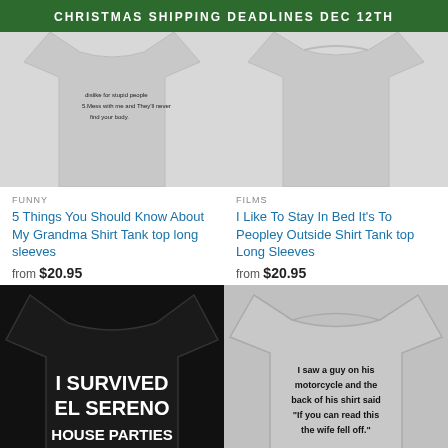CHRISTMAS SHIPPING DEADLINES DEC 12TH
[Figure (photo): Gray t-shirt showing text about 5 things about grandma, back view]
[Figure (photo): Gray t-shirt, back view, plain]
FUNNY
5 Things You Should Know About My Grandma Shirt Tank top long sleeves
from $20.95
FILMS
I Like To Stay In Bed It's To Peopley Outside Shirt Tank top Long Sleeves
from $20.95
[Figure (photo): Black t-shirt with white text: I SURVIVED EL SERENO HOUSE PARTIES]
[Figure (photo): Gray t-shirt with text: I saw a guy on his motorcycle and the back of his shirt said "If you can read this the wife fell off."]